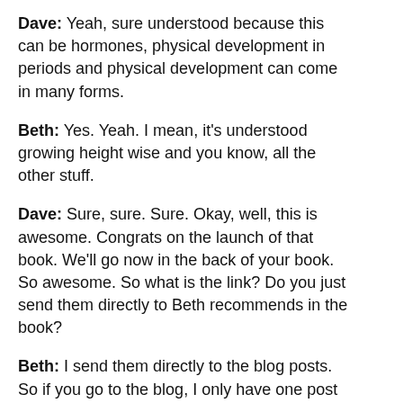Dave: Yeah, sure understood because this can be hormones, physical development in periods and physical development can come in many forms.
Beth: Yes. Yeah. I mean, it's understood growing height wise and you know, all the other stuff.
Dave: Sure, sure. Sure. Okay, well, this is awesome. Congrats on the launch of that book. We'll go now in the back of your book. So awesome. So what is the link? Do you just send them directly to Beth recommends in the book?
Beth: I send them directly to the blog posts. So if you go to the blog, I only have one post right now. Just because I just launched it. So that's Yeah, okay. That's basically